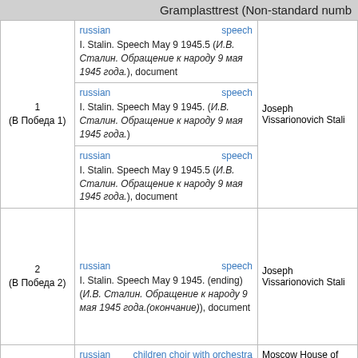Gramplasttrest (Non-standard numb
| Number | Tracks | Artist |
| --- | --- | --- |
| 1
(В Победа 1) | russian | speech
I. Stalin. Speech May 9 1945.5 (И.В. Сталин. Обращение к народу 9 мая 1945 года.), document
---
russian | speech
I. Stalin. Speech May 9 1945. (И.В. Сталин. Обращение к народу 9 мая 1945 года.)
---
russian | speech
I. Stalin. Speech May 9 1945.5 (И.В. Сталин. Обращение к народу 9 мая 1945 года.), document | Joseph Vissarionovich Stali |
| 2
(В Победа 2) | russian | speech
I. Stalin. Speech May 9 1945. (ending) (И.В. Сталин. Обращение к народу 9 мая 1945 года.(окончание)), document | Joseph Vissarionovich Stali |
| Игр-18
(ГЛ-18) | russian | children choir with orchestra
Moscow in May (Москва майская), march song (Film «The Twentieth May») | Moscow House of Cinema Children' Eccentric Orchestra, acc. orchestra |